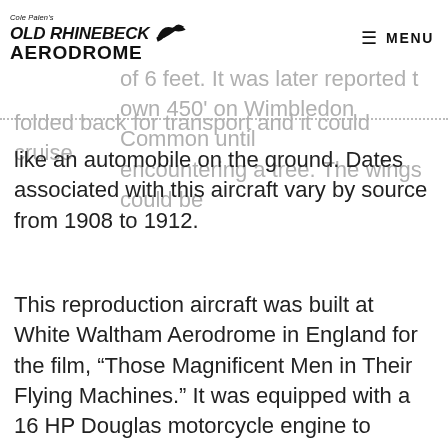Cole Palen's Old Rhinebeck Aerodrome | MENU
have from this type aircraft some 40 yards at of 6 feet. It was later reported t own 450' on Wimbledon Common until encountering a tree. The wings could be folded back for transport and it could cruise like an automobile on the ground. Dates associated with this aircraft vary by source from 1908 to 1912.
This reproduction aircraft was built at White Waltham Aerodrome in England for the film, “Those Magnificent Men in Their Flying Machines.” It was equipped with a 16 HP Douglas motorcycle engine to power the rear wheels and flap the rear wings for the film, and although the original designer was French and it was built in England, it was an Italian pilot who briefly flew the Passat in the